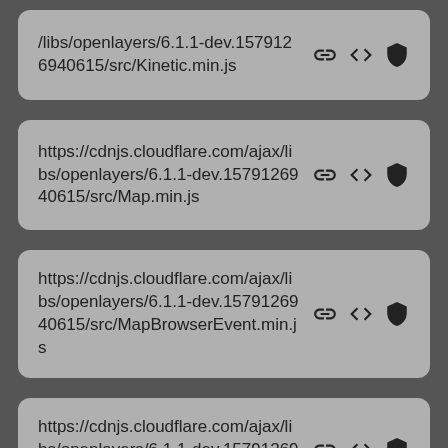/libs/openlayers/6.1.1-dev.1579126940615/src/Kinetic.min.js
https://cdnjs.cloudflare.com/ajax/libs/openlayers/6.1.1-dev.1579126940615/src/Map.min.js
https://cdnjs.cloudflare.com/ajax/libs/openlayers/6.1.1-dev.1579126940615/src/MapBrowserEvent.min.js
https://cdnjs.cloudflare.com/ajax/libs/openlayers/6.1.1-dev.1579126940615/src/MapBro